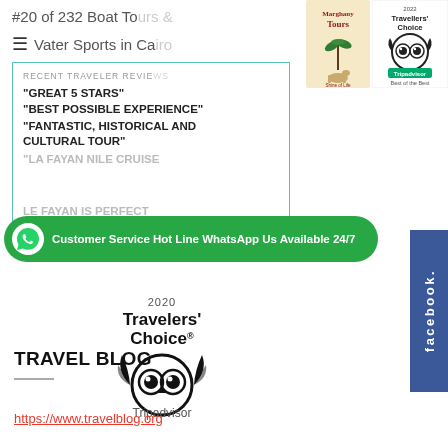#20 of 232 Boat Tours & Water Sports in Cairo
[Figure (logo): Marghany Tours logo and TripAdvisor Travellers' Choice 2022 Best of the Best badge]
RECENT TRAVELER REVIEWS
"GREAT 5 STARS"
"BEST POSSIBLE EXPERIENCE"
"FANTASTIC, HISTORICAL AND CULTURAL TOUR"
"LA FAYAN NILE CRUISE
LE FAYAN IS PERFECT
Read reviews  |  Write a review
[Figure (other): WhatsApp Customer Service Hot Line bar: Customer Service Hot Line WhatsApp Us Available 24/7]
[Figure (logo): 2020 Travelers' Choice Tripadvisor badge with owl logo]
[Figure (other): Facebook sidebar button]
TRAVEL BLOG
https://www.travelblog.org